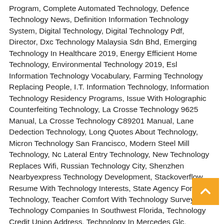Program, Complete Automated Technology, Defence Technology News, Definition Information Technology System, Digital Technology, Digital Technology Pdf, Director, Dxc Technology Malaysia Sdn Bhd, Emerging Technology In Healthcare 2019, Energy Efficient Home Technology, Environmental Technology 2019, Esl Information Technology Vocabulary, Farming Technology Replacing People, I.T. Information Technology, Information Technology Residency Programs, Issue With Holographic Counterfeiting Technology, La Crosse Technology 9625 Manual, La Crosse Technology C89201 Manual, Lane Dedection Technology, Long Quotes About Technology, Micron Technology San Francisco, Modern Steel Mill Technology, Nc Lateral Entry Technology, New Technology Replaces Wifi, Russian Technology City, Shenzhen Nearbyexpress Technology Development, Stackoverflow Resume With Technology Interests, State Agency For Technology, Teacher Comfort With Technology Survey, Technology Companies In Southwest Florida, Technology Credit Union Address, Technology In Mercedes Glc, Technology Material Grant For College, Technology Meibomian Lid, Technology Production And Cost, Treehouse Education Technology, Western Technology Center Sayre Ok, What Is Jet